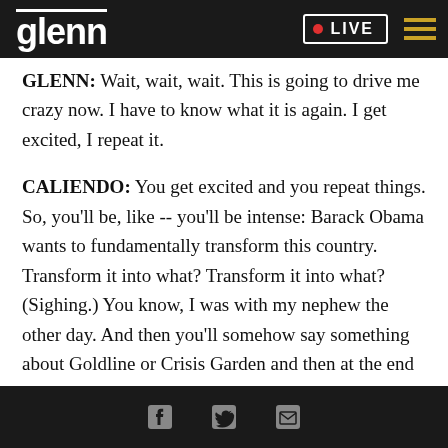glenn  LIVE
GLENN: Wait, wait, wait. This is going to drive me crazy now. I have to know what it is again. I get excited, I repeat it.
CALIENDO: You get excited and you repeat things. So, you'll be, like -- you'll be intense: Barack Obama wants to fundamentally transform this country. Transform it into what? Transform it into what? (Sighing.) You know, I was with my nephew the other day. And then you'll somehow say something about Goldline or Crisis Garden and then at the end you'll be, like, how did he just do that? Write a book
social icons: Facebook, Twitter, Email